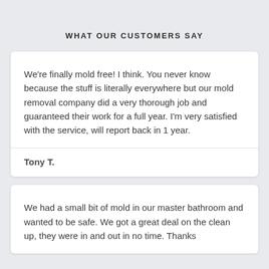WHAT OUR CUSTOMERS SAY
We're finally mold free! I think. You never know because the stuff is literally everywhere but our mold removal company did a very thorough job and guaranteed their work for a full year. I'm very satisfied with the service, will report back in 1 year.
Tony T.
We had a small bit of mold in our master bathroom and wanted to be safe. We got a great deal on the clean up, they were in and out in no time. Thanks